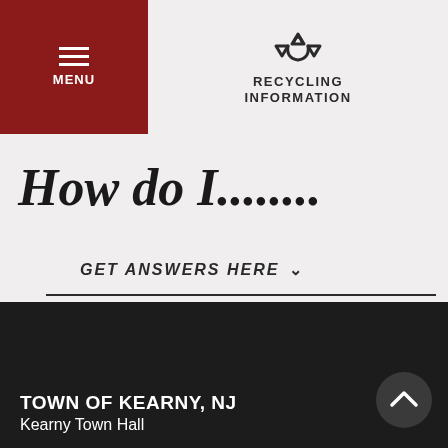MENU | RECYCLING INFORMATION
How do I........
GET ANSWERS HERE ∨
TOWN OF KEARNY, NJ
Kearny Town Hall